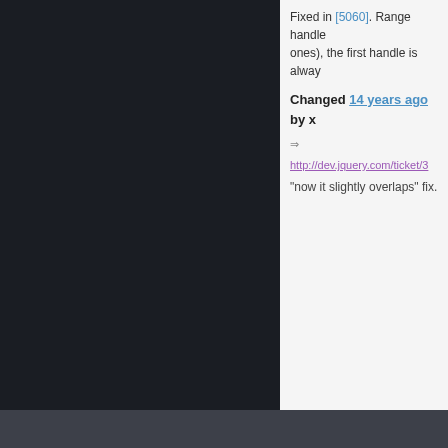Fixed in [5060]. Range handle ones), the first handle is always
Changed 14 years ago by x
⇒ http://dev.jquery.com/ticket/3
"now it slightly overlaps" fix.
RSS Feed
Copyright 2013 The jQuery Foundation
Hosting provided by Media Temple
CDN provided by MaxCDN
Dow